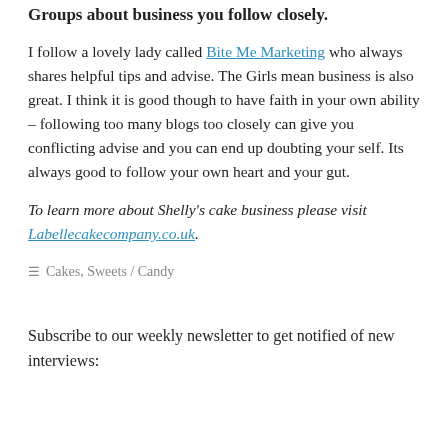Groups about business you follow closely.
I follow a lovely lady called Bite Me Marketing who always shares helpful tips and advise. The Girls mean business is also great. I think it is good though to have faith in your own ability – following too many blogs too closely can give you conflicting advise and you can end up doubting your self. Its always good to follow your own heart and your gut.
To learn more about Shelly's cake business please visit Labellecakecompany.co.uk.
Cakes, Sweets / Candy
Subscribe to our weekly newsletter to get notified of new interviews: